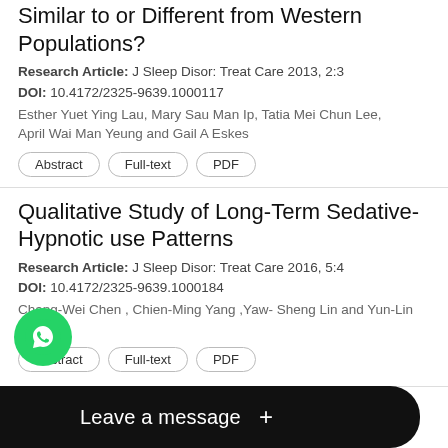Similar to or Different from Western Populations?
Research Article: J Sleep Disor: Treat Care 2013, 2:3
DOI: 10.4172/2325-9639.1000117
Esther Yuet Ying Lau, Mary Sau Man Ip, Tatia Mei Chun Lee, April Wai Man Yeung and Gail A Eskes
Abstract | Full-text | PDF
Qualitative Study of Long-Term Sedative-Hypnotic use Patterns
Research Article: J Sleep Disor: Treat Care 2016, 5:4
DOI: 10.4172/2325-9639.1000184
Chang-Wei Chen , Chien-Ming Yang ,Yaw- Sheng Lin and Yun-Lin Tsai
Abstract | Full-text | PDF
The Relationship between Sleep, Depression, and natic Brain Injury: A Study of Ontario
Rese...Care 2015, 4:1